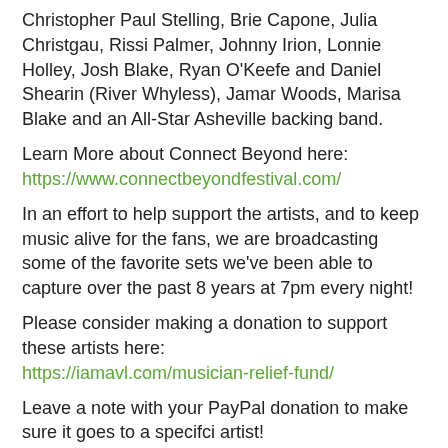Christopher Paul Stelling, Brie Capone, Julia Christgau, Rissi Palmer, Johnny Irion, Lonnie Holley, Josh Blake, Ryan O'Keefe and Daniel Shearin (River Whyless), Jamar Woods, Marisa Blake and an All-Star Asheville backing band.
Learn More about Connect Beyond here:
https://www.connectbeyondfestival.com/
In an effort to help support the artists, and to keep music alive for the fans, we are broadcasting some of the favorite sets we've been able to capture over the past 8 years at 7pm every night!
Please consider making a donation to support these artists here:
https://iamavl.com/musician-relief-fund/
Leave a note with your PayPal donation to make sure it goes to a specifci artist!